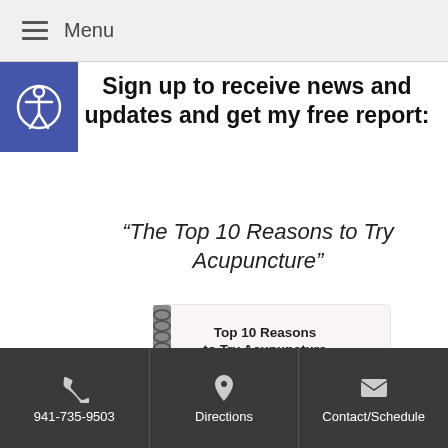≡ Menu
Sign up to receive news and updates and get my free report:
“The Top 10 Reasons to Try Acupuncture”
[Figure (illustration): Spiral-bound booklet titled 'Top 10 Reasons to Try Acupuncture' with an image of stacked balancing stones on a beach background and a decorative red stamp.]
941-735-9503 | Directions | Contact/Schedule